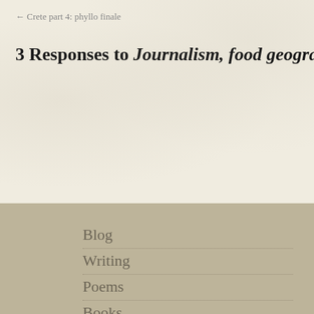← Crete part 4: phyllo finale
3 Responses to Journalism, food geography and a mi…
Blog
Writing
Poems
Books
News
Contact
Biography
Links